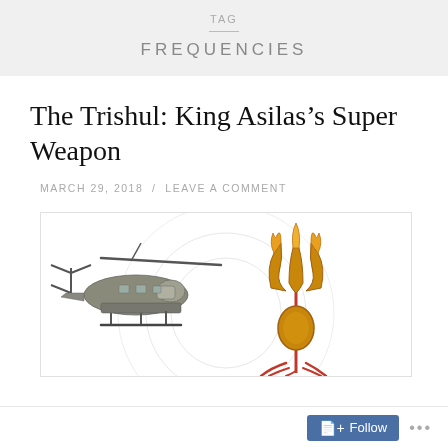TAG
FREQUENCIES
The Trishul: King Asilas’s Super Weapon
MARCH 29, 2018 / LEAVE A COMMENT
[Figure (photo): Composite image showing a military Chinook helicopter on the left and a golden flaming trishul (trident) on the right, against a white background with faint circular ripples.]
Follow ...